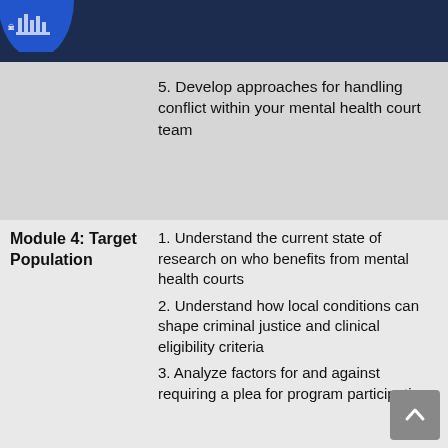[Figure (logo): Circular blue logo with building/institution imagery, cropped at top-left corner]
5. Develop approaches for handling conflict within your mental health court team
Module 4: Target Population
1. Understand the current state of research on who benefits from mental health courts
2. Understand how local conditions can shape criminal justice and clinical eligibility criteria
3. Analyze factors for and against requiring a plea for program participation